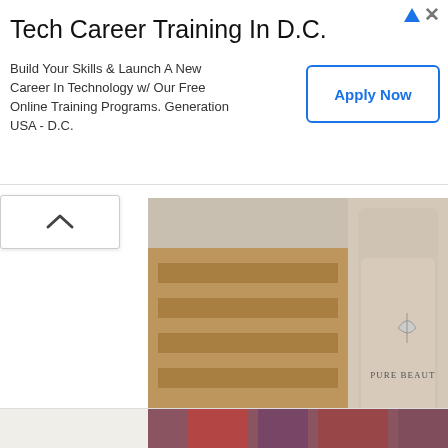Tech Career Training In D.C.
Build Your Skills & Launch A New Career In Technology w/ Our Free Online Training Programs. Generation USA - D.C.
[Figure (photo): A product photo showing a Pure Beauty skincare bottle with rose illustrations labeled '95.3% GALACTOMYCES THE FIRST INTENSE TREATMENT ESSENCE', placed among wooden boxes and rose petals on a white surface.]
[Figure (photo): Partially visible bottom image strip showing colorful fabric or pattern.]